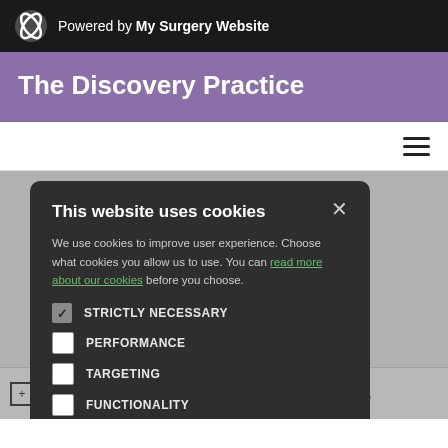Powered by My Surgery Website
The Discovery Practice
This website uses cookies

We use cookies to improve user experience. Choose what cookies you allow us to use. You can read more about our cookies before you choose.

STRICTLY NECESSARY
PERFORMANCE
TARGETING
FUNCTIONALITY
ACCEPT ALL    DECLINE ALL
Child Health 7 to 15 Years